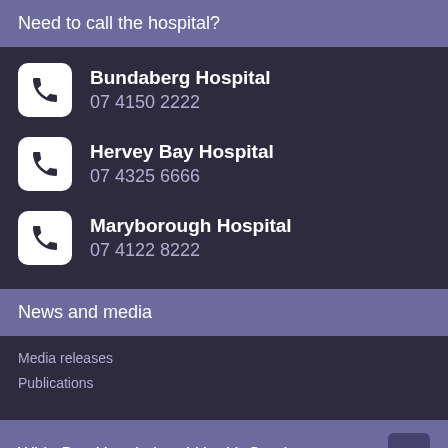Need to call the hospital?
Bundaberg Hospital
07 4150 2222
Hervey Bay Hospital
07 4325 6666
Maryborough Hospital
07 4122 8222
News and media
Media releases
Publications
Wide Bay Hospital and Health Service
Career opportunities